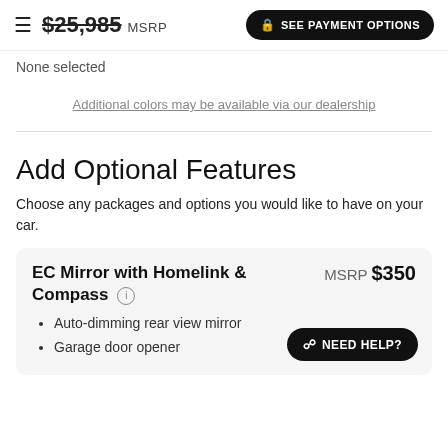$25,985 MSRP | SEE PAYMENT OPTIONS
None selected
Additional colors may be available via our dealership
Add Optional Features
Choose any packages and options you would like to have on your car.
EC Mirror with Homelink & Compass (i) MSRP $350
• Auto-dimming rear view mirror
• Garage door opener
NEED HELP?